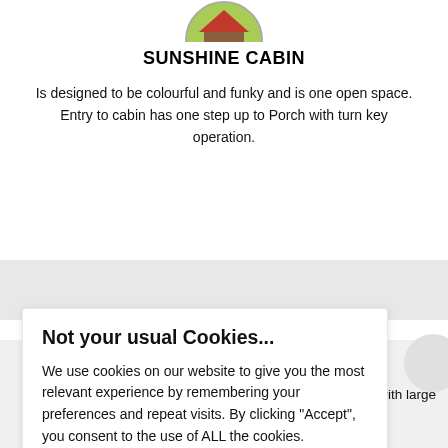[Figure (illustration): Partially cropped circular logo/emblem at top center of page, showing colorful cabin illustration]
SUNSHINE CABIN
Is designed to be colourful and funky and is one open space. Entry to cabin has one step up to Porch with turn key operation.
Not your usual Cookies...
We use cookies on our website to give you the most relevant experience by remembering your preferences and repeat visits. By clicking “Accept”, you consent to the use of ALL the cookies.
Do not sell my personal information
.
Cookie settings   ACCEPT
ture with large front and back windows looking out at the forest.